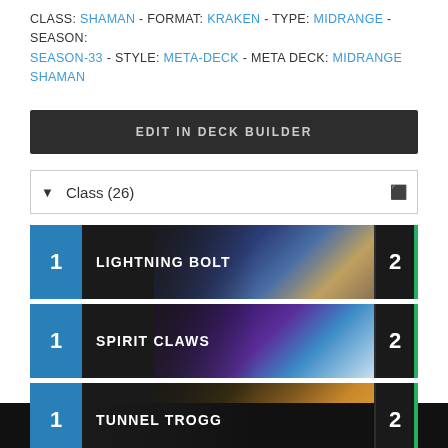CLASS: SHAMAN - FORMAT: KRAKEN - TYPE: MIDRANGE - SEASON: SEASON-33 - STYLE: META-DECK - META DECK: MIDRANGE SHAMAN
EDIT IN DECK BUILDER
Class (26)
1  LIGHTNING BOLT  2
1  SPIRIT CLAWS  2
1  TUNNEL TROGG  2
2  FLAMETONGUE TOTEM  2
2  MAELSTROM PORTAL  2
2  TOTEM GOLEM  2